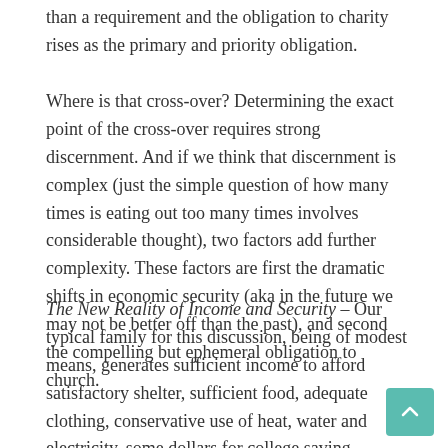than a requirement and the obligation to charity rises as the primary and priority obligation.
Where is that cross-over? Determining the exact point of the cross-over requires strong discernment. And if we think that discernment is complex (just the simple question of how many times is eating out too many times involves considerable thought), two factors add further complexity. These factors are first the dramatic shifts in economic security (aka in the future we may not be better off than the past), and second the compelling but ephemeral obligation to church.
The New Reality of Income and Security – Our typical family for this discussion, being of modest means, generates sufficient income to afford satisfactory shelter, sufficient food, adequate clothing, conservative use of heat, water and electricity, some dollars for college saving, contributions to retirement, plus a few amenities, i.e. a